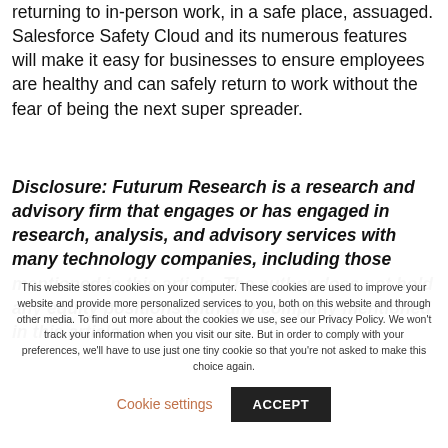returning to in-person work, in a safe place, assuaged. Salesforce Safety Cloud and its numerous features will make it easy for businesses to ensure employees are healthy and can safely return to work without the fear of being the next super spreader.
Disclosure: Futurum Research is a research and advisory firm that engages or has engaged in research, analysis, and advisory services with many technology companies, including those mentioned in this article. The author does not hold any equity positions with any company mentioned in this article.
This website stores cookies on your computer. These cookies are used to improve your website and provide more personalized services to you, both on this website and through other media. To find out more about the cookies we use, see our Privacy Policy. We won't track your information when you visit our site. But in order to comply with your preferences, we'll have to use just one tiny cookie so that you're not asked to make this choice again.
Cookie settings
ACCEPT